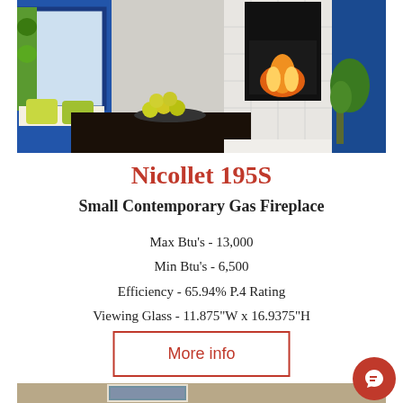[Figure (photo): Interior room scene with a contemporary gas fireplace insert in a white tile surround, blue accent wall, yellow-green pillows, decorative balls in a bowl on a dark coffee table, and a plant.]
Nicollet 195S
Small Contemporary Gas Fireplace
Max Btu's - 13,000
Min Btu's - 6,500
Efficiency - 65.94% P.4 Rating
Viewing Glass - 11.875"W x 16.9375"H
More info
[Figure (photo): Partial view of another room scene showing framed artwork on a wall, partially cropped at the bottom.]